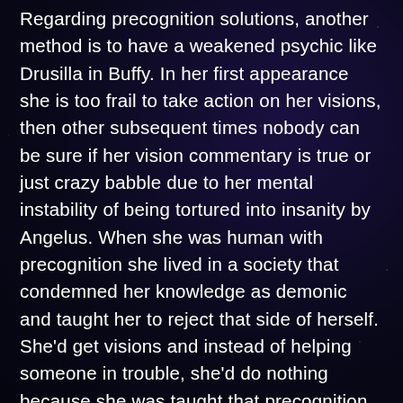Regarding precognition solutions, another method is to have a weakened psychic like Drusilla in Buffy. In her first appearance she is too frail to take action on her visions, then other subsequent times nobody can be sure if her vision commentary is true or just crazy babble due to her mental instability of being tortured into insanity by Angelus. When she was human with precognition she lived in a society that condemned her knowledge as demonic and taught her to reject that side of herself. She'd get visions and instead of helping someone in trouble, she'd do nothing because she was taught that precognition was bad and made her an evil person when all she tried to be was devout and good.
Or Cassandra in Greek myth. She could accurately